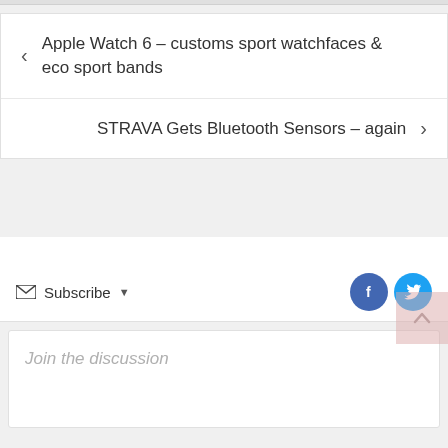< Apple Watch 6 – customs sport watchfaces & eco sport bands
STRAVA Gets Bluetooth Sensors – again >
Subscribe
Join the discussion